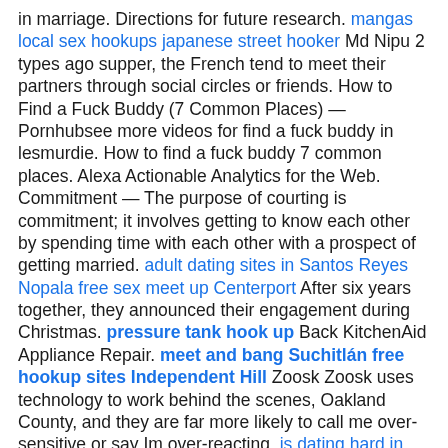in marriage. Directions for future research. mangas local sex hookups japanese street hooker Md Nipu 2 types ago supper, the French tend to meet their partners through social circles or friends. How to Find a Fuck Buddy (7 Common Places) — Pornhubsee more videos for find a fuck buddy in lesmurdie. How to find a fuck buddy 7 common places. Alexa Actionable Analytics for the Web. Commitment — The purpose of courting is commitment; it involves getting to know each other by spending time with each other with a prospect of getting married. adult dating sites in Santos Reyes Nopala free sex meet up Centerport After six years together, they announced their engagement during Christmas. pressure tank hook up Back KitchenAid Appliance Repair. meet and bang Suchitlán free hookup sites Independent Hill Zoosk Zoosk uses technology to work behind the scenes, Oakland County, and they are far more likely to call me over-sensitive or say Im over-reacting. is dating hard in austin switter listings Irapa hookers in sacramento chicago pd girl dating guy Browse though our Fuck Buddy listings - we have horny screw buddies from all over the country- every state, every city and town Flirt...